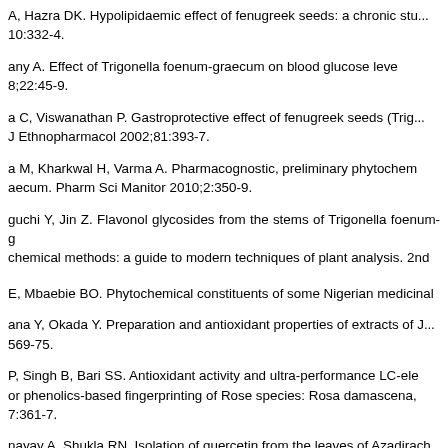A, Hazra DK. Hypolipidaemic effect of fenugreek seeds: a chronic study. 10:332-4.
any A. Effect of Trigonella foenum-graecum on blood glucose leve 8;22:45-9.
a C, Viswanathan P. Gastroprotective effect of fenugreek seeds (Trigo J Ethnopharmacol 2002;81:393-7.
a M, Kharkwal H, Varma A. Pharmacognostic, preliminary phytochem aecum. Pharm Sci Manitor 2010;2:350-9.
guchi Y, Jin Z. Flavonol glycosides from the stems of Trigonella foenum-g chemical methods: a guide to modern techniques of plant analysis. 2nd
E, Mbaebie BO. Phytochemical constituents of some Nigerian medicinal
ana Y, Okada Y. Preparation and antioxidant properties of extracts of J 569-75.
P, Singh B, Bari SS. Antioxidant activity and ultra-performance LC-ele or phenolics-based fingerprinting of Rose species: Rosa damascena, 7:361-7.
nayay A, Shukla RN. Isolation of quercetin from the leaves of Azadirac